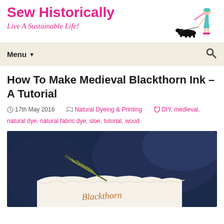Sew Historically
Live A Sustainable Life!
How To Make Medieval Blackthorn Ink – A Tutorial
17th May 2016   Natural Dyeing & Printing   DIY, medieval, natural dye, natural fabric dye, sloe, tutorial, wood
[Figure (photo): Photo of blackthorn botanical material (green sprig/needles) resting on torn white handmade paper with the text 'Blackthorn' written in brown ink, against a dark blue/navy background.]